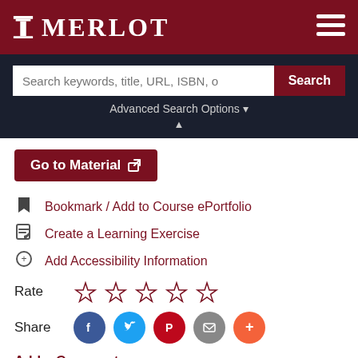[Figure (logo): MERLOT logo with column icon on dark red background header bar]
[Figure (screenshot): Search bar with text 'Search keywords, title, URL, ISBN, o' and a red Search button on dark background]
Advanced Search Options ▼
Go to Material ↗
🔖 Bookmark / Add to Course ePortfolio
✎ Create a Learning Exercise
⊕ Add Accessibility Information
Rate ☆ ☆ ☆ ☆ ☆
Share [Facebook] [Twitter] [Pinterest] [Email] [More]
Add a Comment